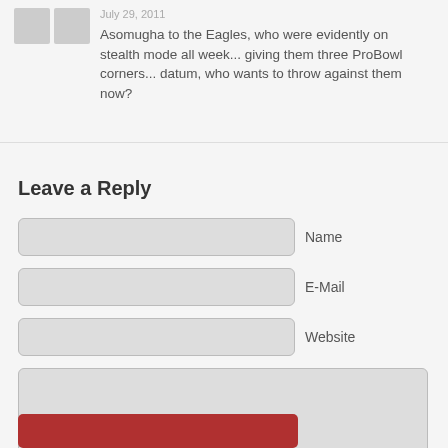July 29, 2011
Asomugha to the Eagles, who were evidently on stealth mode all week... giving them three ProBowl corners... datum, who wants to throw against them now?
Leave a Reply
Name
E-Mail
Website